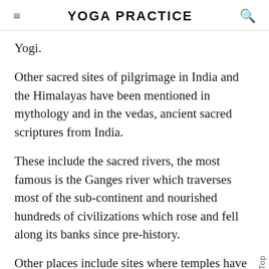YOGA PRACTICE
Yogi.
Other sacred sites of pilgrimage in India and the Himalayas have been mentioned in mythology and in the vedas, ancient sacred scriptures from India.
These include the sacred rivers, the most famous is the Ganges river which traverses most of the sub-continent and nourished hundreds of civilizations which rose and fell along its banks since pre-history.
Other places include sites where temples have been built where Lord Shiva's tears fell or